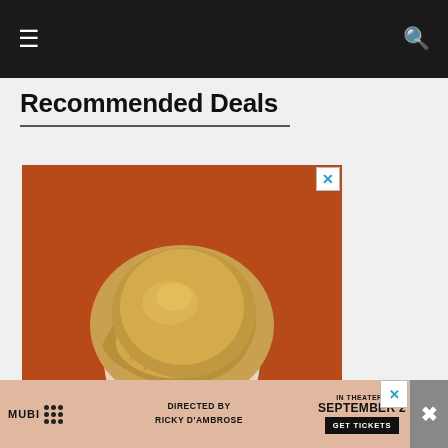≡  🔍
Recommended Deals
[Figure (photo): Advertisement banner showing back of a person with curly blonde hair against an orange/rust background, with MUBI film promotion overlay at bottom. DIRECTED BY RICKY D'AMBROSE. IN THEATERS SEPTEMBER 2. GET TICKETS.]